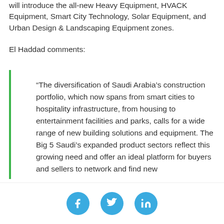will introduce the all-new Heavy Equipment, HVACK Equipment, Smart City Technology, Solar Equipment, and Urban Design & Landscaping Equipment zones.
El Haddad comments:
“The diversification of Saudi Arabia’s construction portfolio, which now spans from smart cities to hospitality infrastructure, from housing to entertainment facilities and parks, calls for a wide range of new building solutions and equipment. The Big 5 Saudi’s expanded product sectors reflect this growing need and offer an ideal platform for buyers and sellers to network and find new
Social media icons: Facebook, Twitter, LinkedIn